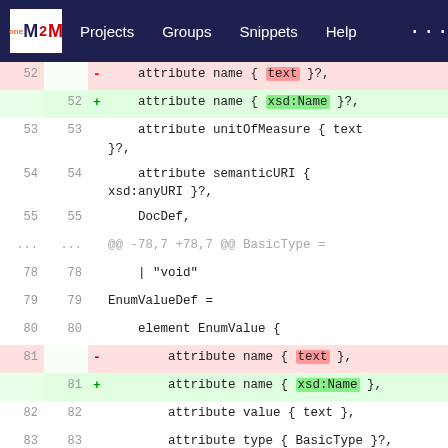oneM2M | Projects | Groups | Snippets | Help
[Figure (screenshot): Git diff view showing code changes in a diff viewer. Lines 52-88 are shown. Removed lines (red background) show 'text' type and added lines (green background) show 'xsd:Name' or 'xsd:anyURI' replacements. The diff is for a schema file modifying attribute name types from 'text' to 'xsd:Name'.]